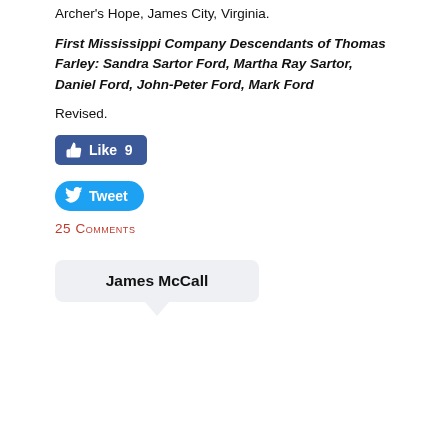Archer's Hope, James City, Virginia.
First Mississippi Company Descendants of Thomas Farley: Sandra Sartor Ford, Martha Ray Sartor, Daniel Ford, John-Peter Ford, Mark Ford
Revised.
[Figure (other): Facebook Like button showing 9 likes and a Twitter Tweet button]
25 Comments
James McCall